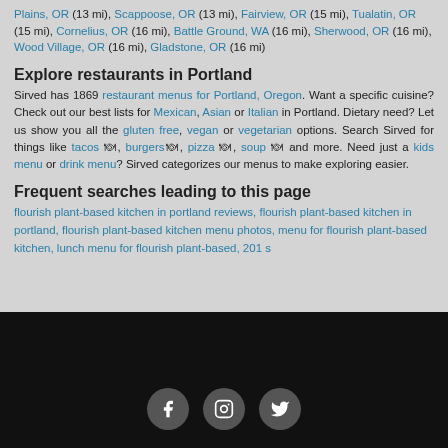Plains, OR (13 mi), Scappoose, OR (13 mi), Fairview, OR (15 mi), Tualatin, OR (15 mi), Cornelius, OR (16 mi), Battle Ground, WA (16 mi), Sherwood, OR (16 mi), Wood Village, OR (16 mi), Gladstone, OR (16 mi)
Explore restaurants in Portland
Sirved has 1869 restaurant menus for Portland, Oregon. Want a specific cuisine? Check out our best lists for Mexican, Asian or Italian in Portland. Dietary need? Let us show you all the gluten free, vegan or vegetarian options. Search Sirved for things like tacos 🍽, burgers🍽, pizza 🍽, soup 🍽 and more. Need just a kids menu or drink menu? Sirved categorizes our menus to make exploring easier.
Frequent searches leading to this page
flourish plant-based kitchen in portland reviews, flourish plant-based kitchen in portland, flourish plant-based kitchen menu photos, menu for flourish plant-based kitchen, lunch menu for flourish plant-based, 201 s
[Figure (other): Dark footer bar with three social media icons: Facebook, Instagram, Twitter]